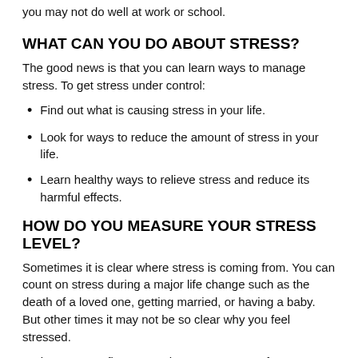you may not do well at work or school.
WHAT CAN YOU DO ABOUT STRESS?
The good news is that you can learn ways to manage stress. To get stress under control:
Find out what is causing stress in your life.
Look for ways to reduce the amount of stress in your life.
Learn healthy ways to relieve stress and reduce its harmful effects.
HOW DO YOU MEASURE YOUR STRESS LEVEL?
Sometimes it is clear where stress is coming from. You can count on stress during a major life change such as the death of a loved one, getting married, or having a baby. But other times it may not be so clear why you feel stressed.
It's important to figure out what causes stress for you. Everyone feels and responds to stress differently. Tracking your stress may help. Get a notebook, and write down when something makes you feel stressed. Then write how you reacted and what